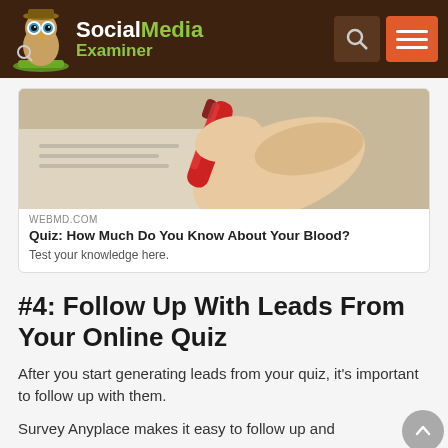Social Media Examiner
[Figure (screenshot): Screenshot of a WebMD quiz card showing a hand holding a red blood sample tube, with title 'Quiz: How Much Do You Know About Your Blood?' and description 'Test your knowledge here.']
WEBMD.COM
Quiz: How Much Do You Know About Your Blood?
Test your knowledge here.
#4: Follow Up With Leads From Your Online Quiz
After you start generating leads from your quiz, it's important to follow up with them.
Survey Anyplace makes it easy to follow up and provide leads to your team and leads. If you are...